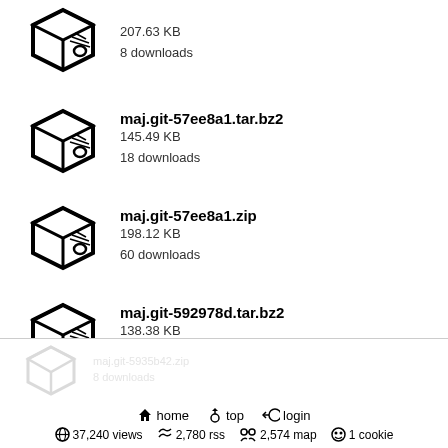207.63 KB
8 downloads
maj.git-57ee8a1.tar.bz2
145.49 KB
18 downloads
maj.git-57ee8a1.zip
198.12 KB
60 downloads
maj.git-592978d.tar.bz2
138.38 KB
17 downloads
maj.git-592978d.zip
190.58 KB
6 downloads
maj.git-5935b42.tar.bz2
135.60 KB
17 downloads
home  top  login  37,240 views  2,780 rss  2,574 map  1 cookie